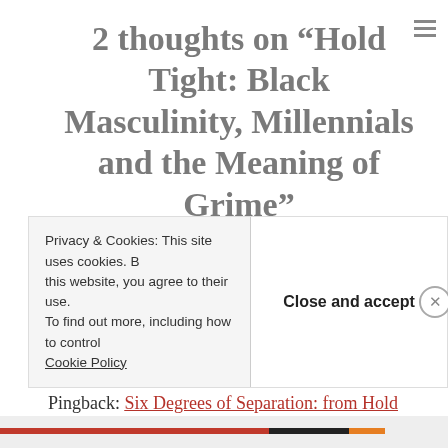2 thoughts on “Hold Tight: Black Masculinity, Millennials and the Meaning of Grime”
Pingback: Twenty Books of Summer readathon – What I Think About When I Think About Reading
Pingback: Six Degrees of Separation: from Hold Tight to The Handmaid’s Tale – What I
Privacy & Cookies: This site uses cookies. By continuing to use this website, you agree to their use. To find out more, including how to control cookies, see here: Cookie Policy
Close and accept